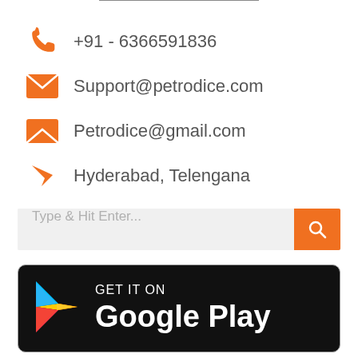+91 - 6366591836
Support@petrodice.com
Petrodice@gmail.com
Hyderabad, Telengana
Type & Hit Enter...
[Figure (logo): Google Play Store badge: GET IT ON Google Play, with colorful Play Store triangle logo]